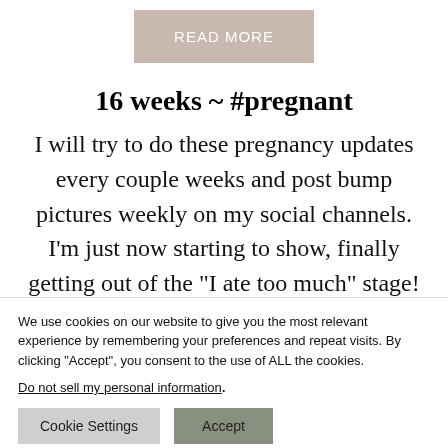READ MORE
16 weeks ~ #pregnant
I will try to do these pregnancy updates every couple weeks and post bump pictures weekly on my social channels. I’m just now starting to show, finally getting out of the “I ate too much” stage! How far along? 16 weeks Maternity
We use cookies on our website to give you the most relevant experience by remembering your preferences and repeat visits. By clicking “Accept”, you consent to the use of ALL the cookies.
Do not sell my personal information.
Cookie Settings
Accept